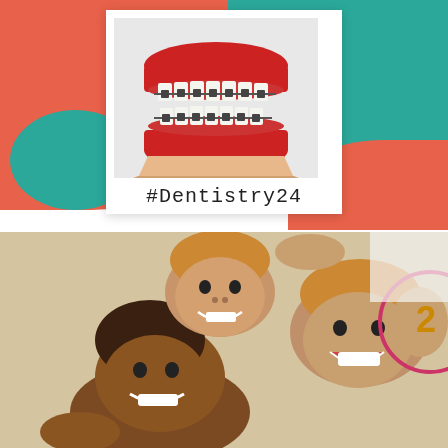[Figure (illustration): Colorful social media style card with coral and teal background blobs. A polaroid-style photo of a dental teeth model with metal orthodontic braces on red gums sits in the center. Below the photo, the hashtag #Dentistry24 is written in handwritten-style font.]
#Dentistry24
[Figure (photo): Photo of three happy children with big smiles looking up at the camera from below, with hands visible. A partial circular logo with '2' is visible on the right side.]